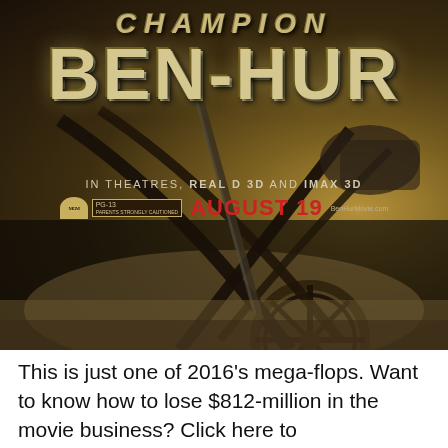[Figure (photo): Movie poster for Ben-Hur (2016). Large metallic silver text reads 'CHAMPION' at top, then 'BEN-HUR' in large chrome-style lettering. Below: 'IN THEATRES, REAL D 3D AND IMAX 3D' and 'AUGUST 19' in red. Background shows chariot reins and a chariot wheel in dark sepia tones. MGM logo and PG-13 rating visible.]
This is just one of 2016's mega-flops. Want to know how to lose $812-million in the movie business? Click here to